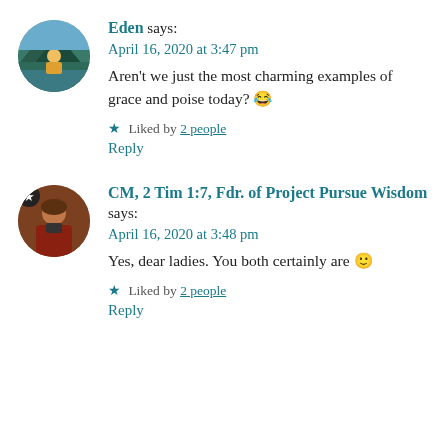Eden says: April 16, 2020 at 3:47 pm
Aren't we just the most charming examples of grace and poise today? 😂
★ Liked by 2 people
Reply
CM, 2 Tim 1:7, Fdr. of Project Pursue Wisdom says: April 16, 2020 at 3:48 pm
Yes, dear ladies. You both certainly are 🙂
★ Liked by 2 people
Reply